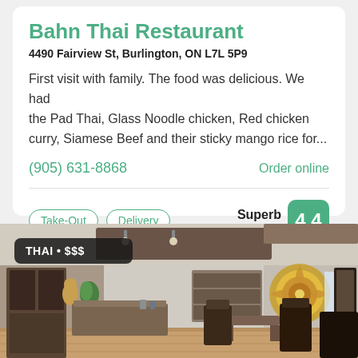Bahn Thai Restaurant
4490 Fairview St, Burlington, ON L7L 5P9
First visit with family. The food was delicious. We had the Pad Thai, Glass Noodle chicken, Red chicken curry, Siamese Beef and their sticky mango rice for...
(905) 631-8868
Order online
Take-Out
Delivery
Superb
140 Reviews
4.4
[Figure (photo): Interior of Bahn Thai Restaurant showing dining area with wooden furniture, Thai decorative art on wall, shelving units, and warm lighting. Badge overlay reads THAI • $$$]